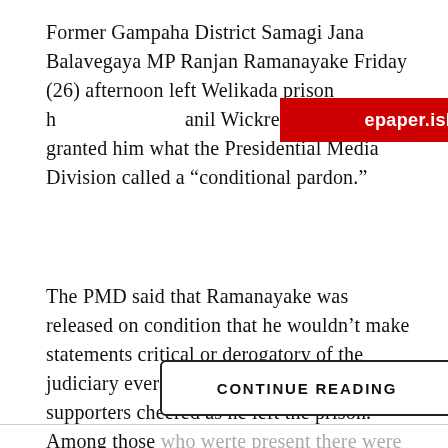Former Gampaha District Samagi Jana Balavegaya MP Ranjan Ramanayake Friday (26) afternoon left Welikada prison h[epaper.island.lk]anil Wickremesinghe granted him what the Presidential Media Division called a “conditional pardon.”
[Figure (other): Red watermark overlay reading 'epaper.island.lk' obscuring part of the first paragraph text]
The PMD said that Ramanayake was released on condition that he wouldn’t make statements critical or derogatory of the judiciary ever again. A large group of supporters cheered as he left the prison. Among those who werte present there were SJB leader Sajith Premadasa and several other MPs.
CONTINUE READING